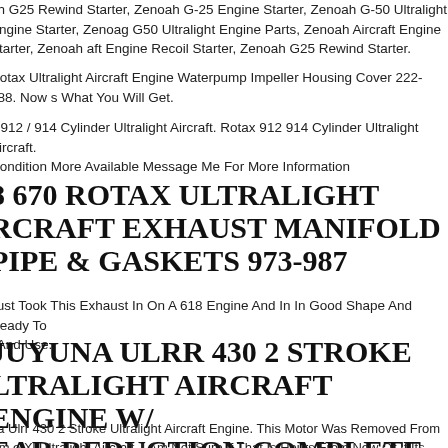ah G25 Rewind Starter, Zenoah G-25 Engine Starter, Zenoah G-50 Ultralight Engine Starter, Zenoag G50 Ultralight Engine Parts, Zenoah Aircraft Engine Starter, Zenoah Aircraft Engine Recoil Starter, Zenoah G25 Rewind Starter.
Rotax Ultralight Aircraft Engine Waterpump Impeller Housing Cover 222-388. Now Is What You Will Get.
x 912 / 914 Cylinder Ultralight Aircraft. Rotax 912 914 Cylinder Ultralight Aircraft. Condition More Available Message Me For More Information
8 670 ROTAX ULTRALIGHT AIRCRAFT EXHAUST MANIFOLD PIPE & GASKETS 973-987
Just Took This Exhaust In On A 618 Engine And In In Good Shape And Ready To Fit And Use.
JUYUNA ULRR 430 2 STROKE ULTRALIGHT AIRCRAFT ENGINE W/ GEAR REDUCTION COMPLETE
na Ulrr 430 2 Stroke Ultralight Aircraft Engine. This Motor Was Removed From An Xl Ultralight Aircraft. I Am Not Sure If That Is Hours From New Or If Its From The Rebuild. Its A Complete Engine That Should Run With A Little Tuning.